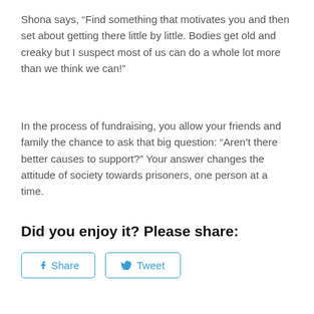Shona says, “Find something that motivates you and then set about getting there little by little. Bodies get old and creaky but I suspect most of us can do a whole lot more than we think we can!”
In the process of fundraising, you allow your friends and family the chance to ask that big question: “Aren’t there better causes to support?” Your answer changes the attitude of society towards prisoners, one person at a time.
Did you enjoy it? Please share:
[Figure (other): Social share buttons: Facebook Share and Twitter Tweet buttons with rounded rectangle borders in blue]